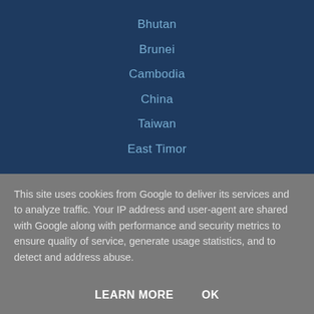Bhutan
Brunei
Cambodia
China
Taiwan
East Timor
This site uses cookies from Google to deliver its services and to analyze traffic. Your IP address and user-agent are shared with Google along with performance and security metrics to ensure quality of service, generate usage statistics, and to detect and address abuse.
LEARN MORE   OK